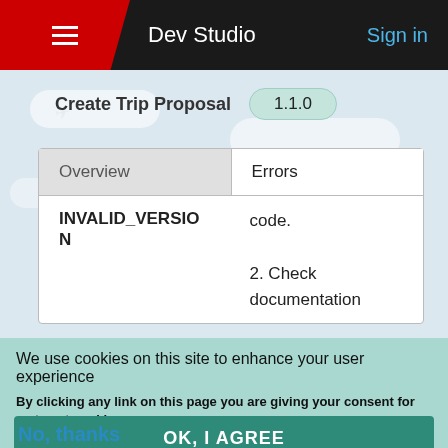Dev Studio  Sign in
Create Trip Proposal  1.1.0
| Overview | Errors |
| --- | --- |
| INVALID_VERSION | code.

2. Check documentation |
We use cookies on this site to enhance your user experience
By clicking any link on this page you are giving your consent for us to set cookies.
OK, I AGREE
No, thanks